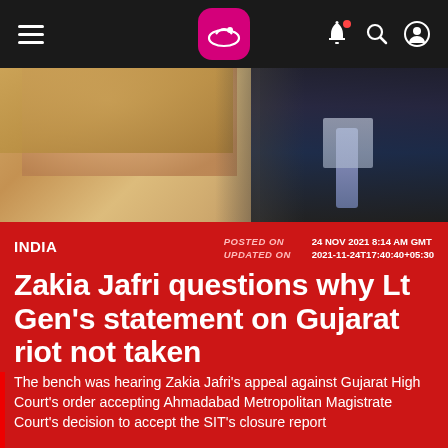INDIA | POSTED ON 24 NOV 2021 8:14 AM GMT | UPDATED ON 2021-11-24T17:40:40+05:30
[Figure (photo): Two people: a woman in a golden/beige headscarf on the left and a man in a dark suit with a light blue tie on the right, partially visible]
Zakia Jafri questions why Lt Gen's statement on Gujarat riot not taken
The bench was hearing Zakia Jafri's appeal against Gujarat High Court's order accepting Ahmadabad Metropolitan Magistrate Court's decision to accept the SIT's closure report